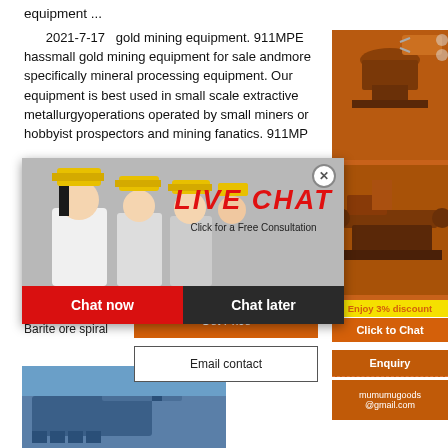equipment ...
2021-7-17   gold mining equipment. 911MPE hassmall gold mining equipment for sale andmore specifically mineral processing equipment. Our equipment is best used in small scale extractive metallurgyoperations operated by small miners or hobbyist prospectors and mining fanatics. 911MP
[Figure (photo): Live Chat popup with workers in yellow hard hats, woman smiling in foreground, LIVE CHAT text in red italic, Chat now and Chat later buttons]
[Figure (photo): Orange sidebar with mining machine images]
Barite ore spiral
Get Price
Email contact
Enjoy 3% discount
Click to Chat
Enquiry
mumumugoods@gmail.com
[Figure (photo): Blue mining equipment / excavator at bottom of page]